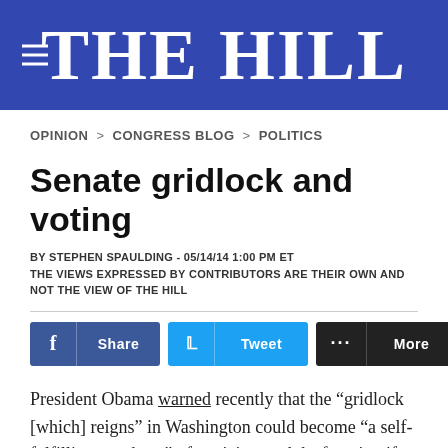THE HILL
OPINION > CONGRESS BLOG > POLITICS
Senate gridlock and voting
BY STEPHEN SPAULDING - 05/14/14 1:00 PM ET
THE VIEWS EXPRESSED BY CONTRIBUTORS ARE THEIR OWN AND NOT THE VIEW OF THE HILL
President Obama warned recently that the “gridlock [which] reigns” in Washington could become “a self-fulfilling prophesy” of cynicism and dysfunction if voters fail to hold politicians accountable at the polls. That same gridlock could make it harder for Americans to vote and have their ballots counted as